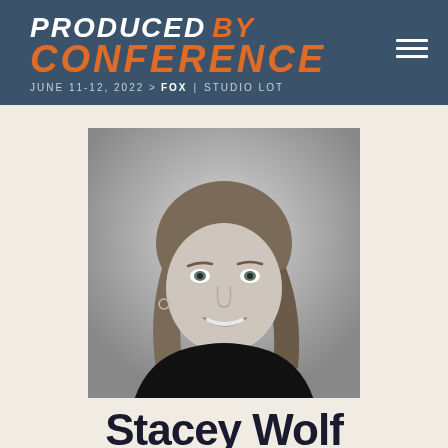PRODUCED BY CONFERENCE — JUNE 11-12, 2022 > FOX | STUDIO LOT
[Figure (photo): Black and white professional headshot of a woman with shoulder-length hair, smiling, wearing a black top]
Stacey Wolf